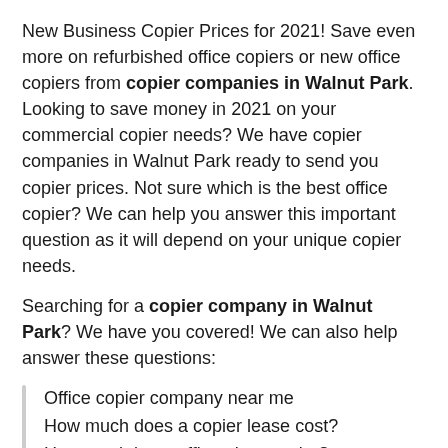New Business Copier Prices for 2021! Save even more on refurbished office copiers or new office copiers from copier companies in Walnut Park. Looking to save money in 2021 on your commercial copier needs? We have copier companies in Walnut Park ready to send you copier prices. Not sure which is the best office copier? We can help you answer this important question as it will depend on your unique copier needs.
Searching for a copier company in Walnut Park? We have you covered! We can also help answer these questions:
Office copier company near me
How much does a copier lease cost?
How much is an office photocopier?
How much does a Ricoh copier cost?